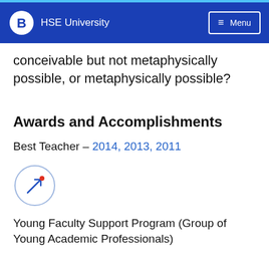HSE University  Menu
conceivable but not metaphysically possible, or metaphysically possible?
Awards and Accomplishments
Best Teacher – 2014, 2013, 2011
[Figure (logo): Circular logo with a stylized arrow/person figure in blue and a small red dot]
Young Faculty Support Program (Group of Young Academic Professionals)